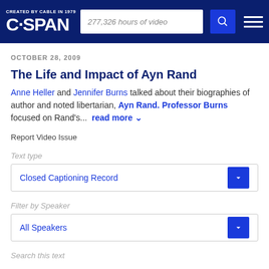CREATED BY CABLE IN 1979 | C·SPAN | 277,326 hours of video
OCTOBER 28, 2009
The Life and Impact of Ayn Rand
Anne Heller and Jennifer Burns talked about their biographies of author and noted libertarian, Ayn Rand. Professor Burns focused on Rand's... read more
Report Video Issue
Text type
Closed Captioning Record
Filter by Speaker
All Speakers
Search this text